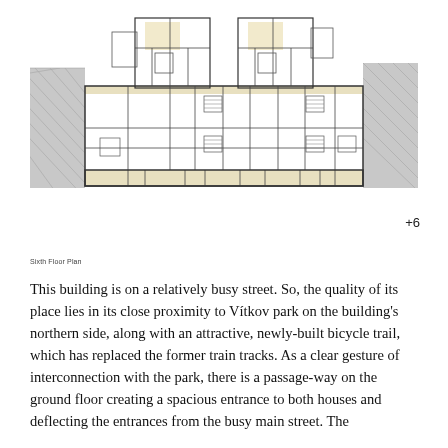[Figure (engineering-diagram): Architectural floor plan (Sixth Floor Plan) showing two residential units with rooms, corridors, stairs, and surrounding site context including hatched areas representing ground and adjacent structures. Highlighted rooms in cream/yellow tones indicate special spaces.]
+6
Sixth Floor Plan
This building is on a relatively busy street. So, the quality of its place lies in its close proximity to Vítkov park on the building's northern side, along with an attractive, newly-built bicycle trail, which has replaced the former train tracks. As a clear gesture of interconnection with the park, there is a passage-way on the ground floor creating a spacious entrance to both houses and deflecting the entrances from the busy main street. The